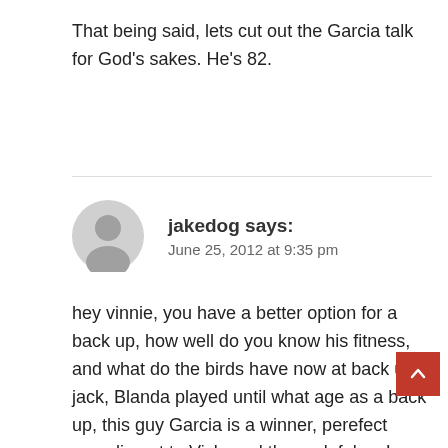That being said, lets cut out the Garcia talk for God's sakes. He's 82.
jakedog says:
June 25, 2012 at 9:35 pm
hey vinnie, you have a better option for a back up, how well do you know his fitness, and what do the birds have now at back up, jack, Blanda played until what age as a back up, this guy Garcia is a winner, perefect compliment to Vick, and the rook foles, I was never a big Vick fan, until all the bs, naysayers, your an fn genius, you have all the stats nailed down,but you can't measure a man's heart with your stat sheet, vick has the heart, unlike your mcnabb, i hope he nails it this yearto shut up all the detractors and put to rest the fraud mcnabb